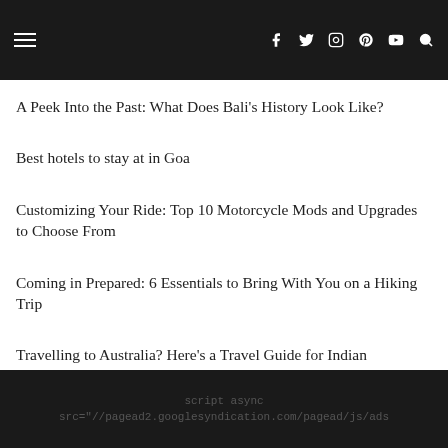Navigation bar with hamburger menu and social icons (f, twitter, instagram, pinterest, youtube, search)
A Peek Into the Past: What Does Bali's History Look Like?
Best hotels to stay at in Goa
Customizing Your Ride: Top 10 Motorcycle Mods and Upgrades to Choose From
Coming in Prepared: 6 Essentials to Bring With You on a Hiking Trip
Travelling to Australia? Here's a Travel Guide for Indian Travellers to Help You Out!
script async src="//pagead2.googlesyndication.com/pagead/js/ads..."